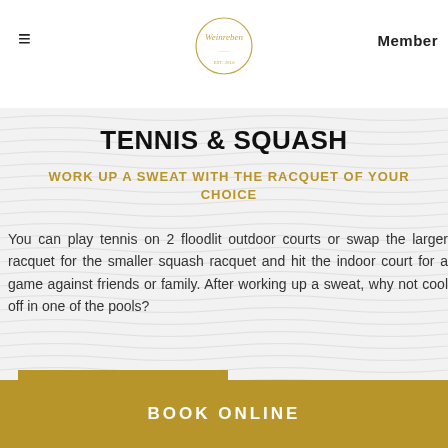≡  [Weinreben logo]  Member
TENNIS & SQUASH
WORK UP A SWEAT WITH THE RACQUET OF YOUR CHOICE
You can play tennis on 2 floodlit outdoor courts or swap the larger racquet for the smaller squash racquet and hit the indoor court for a game against friends or family. After working up a sweat, why not cool off in one of the pools?
READ MORE
BOOK ONLINE